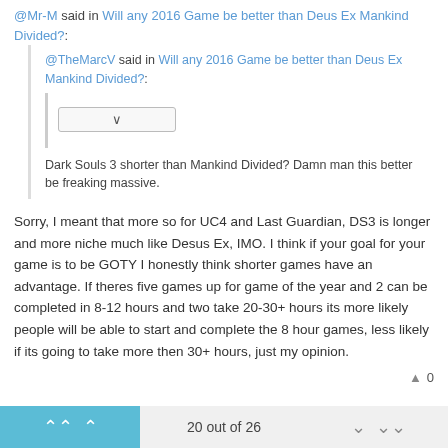@Mr-M said in Will any 2016 Game be better than Deus Ex Mankind Divided?:
@TheMarcV said in Will any 2016 Game be better than Deus Ex Mankind Divided?:
[collapsed content]
Dark Souls 3 shorter than Mankind Divided? Damn man this better be freaking massive.
Sorry, I meant that more so for UC4 and Last Guardian, DS3 is longer and more niche much like Desus Ex, IMO. I think if your goal for your game is to be GOTY I honestly think shorter games have an advantage. If theres five games up for game of the year and 2 can be completed in 8-12 hours and two take 20-30+ hours its more likely people will be able to start and complete the 8 hour games, less likely if its going to take more then 30+ hours, just my opinion.
▲ 0
20 out of 26